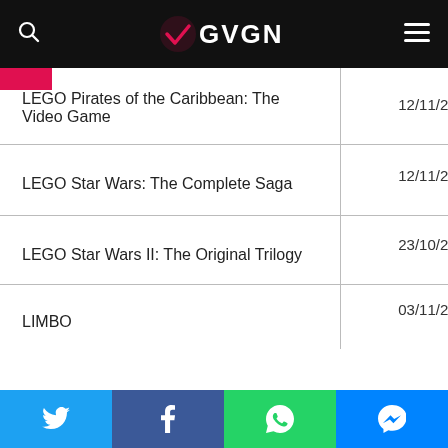GVGN
| Game Title | Date |
| --- | --- |
| LEGO Pirates of the Caribbean: The Video Game | 12/11/2015 |
| LEGO Star Wars: The Complete Saga | 12/11/2015 |
| LEGO Star Wars II: The Original Trilogy | 23/10/2018 |
| LIMBO | 03/11/2016 |
Twitter | Facebook | WhatsApp | Messenger